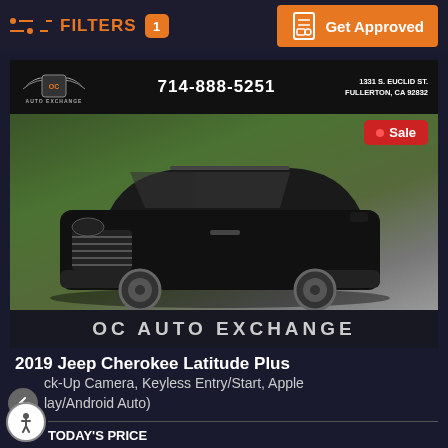FILTERS 1  |  Get Approved
[Figure (photo): OC Auto Exchange dealer advertisement showing a black 2019 Jeep Cherokee Latitude Plus SUV parked in a lot with green hedges background. Dealer header shows logo, phone 714-888-5251, address 1331 S. Euclid St., Fullerton, CA 92832. Sale badge in top right. OC AUTO EXCHANGE footer text at bottom of image.]
2019 Jeep Cherokee Latitude Plus
Back-Up Camera, Keyless Entry/Start, Apple CarPlay/Android Auto)
TODAY'S PRICE